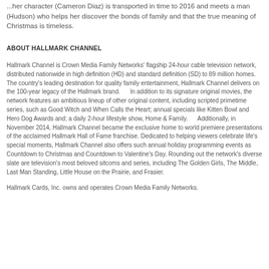...her character (Cameron Diaz) is transported in time to 2016 and meets a man (Hudson) who helps her discover the bonds of family and that the true meaning of Christmas is timeless.
ABOUT HALLMARK CHANNEL
Hallmark Channel is Crown Media Family Networks' flagship 24-hour cable television network, distributed nationwide in high definition (HD) and standard definition (SD) to 89 million homes. The country's leading destination for quality family entertainment, Hallmark Channel delivers on the 100-year legacy of the Hallmark brand.      In addition to its signature original movies, the network features an ambitious lineup of other original content, including scripted primetime series, such as Good Witch and When Calls the Heart; annual specials like Kitten Bowl and Hero Dog Awards and; a daily 2-hour lifestyle show, Home & Family.      Additionally, in November 2014, Hallmark Channel became the exclusive home to world premiere presentations of the acclaimed Hallmark Hall of Fame franchise. Dedicated to helping viewers celebrate life's special moments, Hallmark Channel also offers such annual holiday programming events as Countdown to Christmas and Countdown to Valentine's Day. Rounding out the network's diverse slate are television's most beloved sitcoms and series, including The Golden Girls, The Middle, Last Man Standing, Little House on the Prairie, and Frasier.
Hallmark Cards, Inc. owns and operates Crown Media Family Networks.